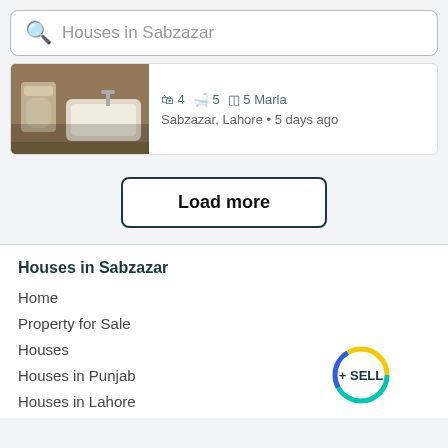Houses in Sabzazar
[Figure (photo): Bathroom interior with toilet and bathtub]
4 beds · 5 baths · 5 Marla · Sabzazar, Lahore · 5 days ago
Load more
Houses in Sabzazar
Home
Property for Sale
Houses
Houses in Punjab
Houses in Lahore
[Figure (other): SELL button with colorful circular ring (teal, blue, yellow)]